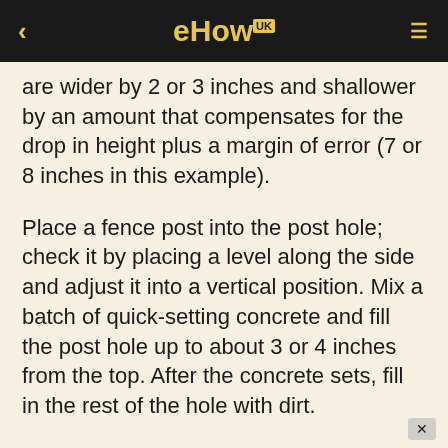eHow UK
are wider by 2 or 3 inches and shallower by an amount that compensates for the drop in height plus a margin of error (7 or 8 inches in this example).
Place a fence post into the post hole; check it by placing a level along the side and adjust it into a vertical position. Mix a batch of quick-setting concrete and fill the post hole up to about 3 or 4 inches from the top. After the concrete sets, fill in the rest of the hole with dirt.
Place a fence post into the post hole; check it by placing a level along the side and